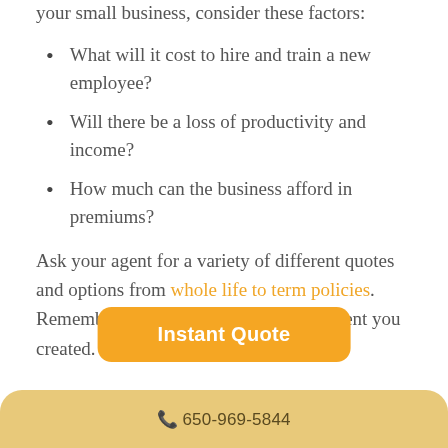your small business, consider these factors:
What will it cost to hire and train a new employee?
Will there be a loss of productivity and income?
How much can the business afford in premiums?
Ask your agent for a variety of different quotes and options from whole life to term policies. Remember, you're protecting an investment you created. Other employees
[Figure (other): Orange 'Instant Quote' button overlay]
📞 650-969-5844